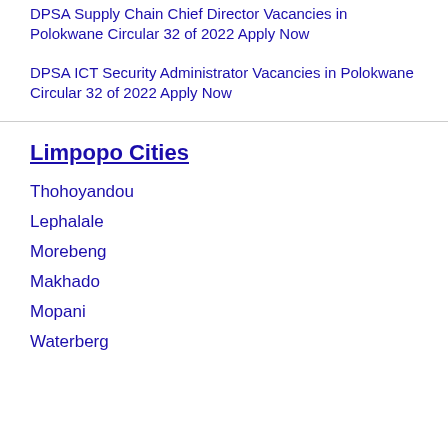DPSA Supply Chain Chief Director Vacancies in Polokwane Circular 32 of 2022 Apply Now
DPSA ICT Security Administrator Vacancies in Polokwane Circular 32 of 2022 Apply Now
Limpopo Cities
Thohoyandou
Lephalale
Morebeng
Makhado
Mopani
Waterberg